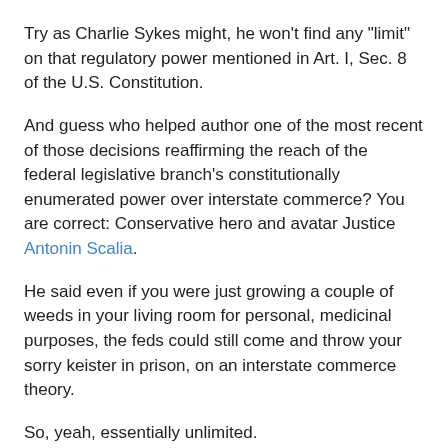Try as Charlie Sykes might, he won't find any "limit" on that regulatory power mentioned in Art. I, Sec. 8 of the U.S. Constitution.
And guess who helped author one of the most recent of those decisions reaffirming the reach of the federal legislative branch's constitutionally enumerated power over interstate commerce? You are correct: Conservative hero and avatar Justice Antonin Scalia.
He said even if you were just growing a couple of weeds in your living room for personal, medicinal purposes, the feds could still come and throw your sorry keister in prison, on an interstate commerce theory.
So, yeah, essentially unlimited.
Incidentally, the otherwise highly commendable link aggregator WisOpinion.com counts Charlie Sykes's one- and two-sentence gibberishes among its "Featured Blogs." Nobody really knows why.